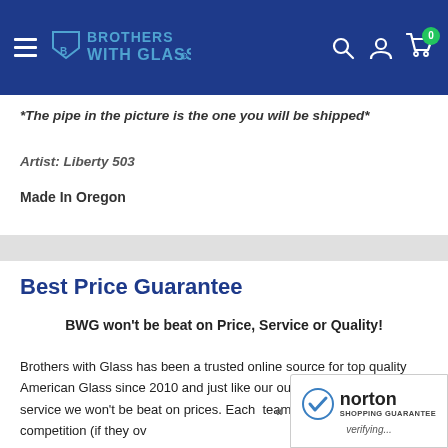Brothers with Glass - navigation header
*The pipe in the picture is the one you will be shipped*
Artist: Liberty 503
Made In Oregon
Best Price Guarantee
BWG won't be beat on Price, Service or Quality!
Brothers with Glass has been a trusted online source for top quality American Glass since 2010 and just like our outstanding customer service we won't be beat on prices. Each team price checks all of our competition (if they ov...